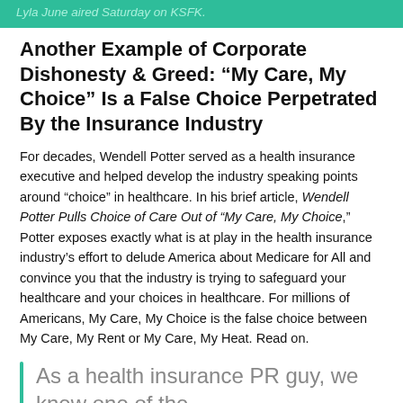Lyla June aired Saturday on KSFK.
Another Example of Corporate Dishonesty & Greed: “My Care, My Choice” Is a False Choice Perpetrated By the Insurance Industry
For decades, Wendell Potter served as a health insurance executive and helped develop the industry speaking points around “choice” in healthcare. In his brief article, Wendell Potter Pulls Choice of Care Out of “My Care, My Choice,” Potter exposes exactly what is at play in the health insurance industry’s effort to delude America about Medicare for All and convince you that the industry is trying to safeguard your healthcare and your choices in healthcare. For millions of Americans, My Care, My Choice is the false choice between My Care, My Rent or My Care, My Heat. Read on.
As a health insurance PR guy, we knew one of the